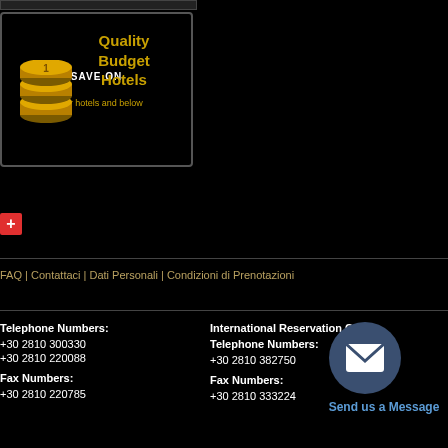[Figure (advertisement): Dark advertisement banner for budget hotels with golden coin stack graphic. Text: SAVE ON Quality Budget Hotels, 3 star hotels and below]
[Figure (other): Small red plus button/icon]
FAQ | Contattaci | Dati Personali | Condizioni di Prenotazioni
Telephone Numbers:
+30 2810 300330
+30 2810 220088
Fax Numbers:
+30 2810 220785
International Reservation Centre
Telephone Numbers:
+30 2810 382750
Fax Numbers:
+30 2810 333224
[Figure (illustration): Dark blue circle with white envelope/mail icon and text 'Send us a Message']